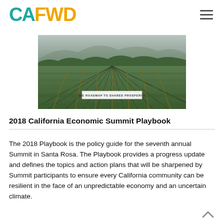CAFWD
[Figure (photo): Aerial view of vineyard rows with hills and trees in background, with a banner reading 'THE ROADMAP TO SHARED PROSPERITY']
2018 California Economic Summit Playbook
The 2018 Playbook is the policy guide for the seventh annual Summit in Santa Rosa. The Playbook provides a progress update and defines the topics and action plans that will be sharpened by Summit participants to ensure every California community can be resilient in the face of an unpredictable economy and an uncertain climate.